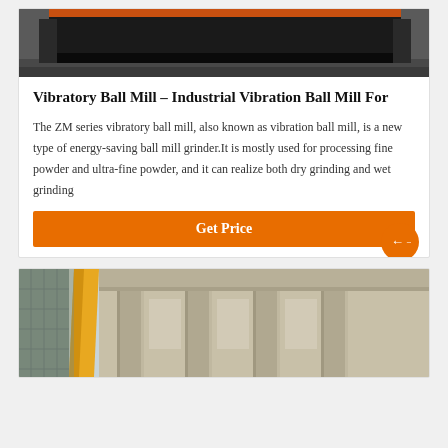[Figure (photo): Top portion of a vibratory ball mill machine, dark industrial equipment with black casing visible against a concrete floor background]
Vibratory Ball Mill – Industrial Vibration Ball Mill For
The ZM series vibratory ball mill, also known as vibration ball mill, is a new type of energy-saving ball mill grinder.It is mostly used for processing fine powder and ultra-fine powder, and it can realize both dry grinding and wet grinding
[Figure (photo): Industrial building exterior with yellow crane arm or structural support visible on the left side, concrete building facade with columns in the background]